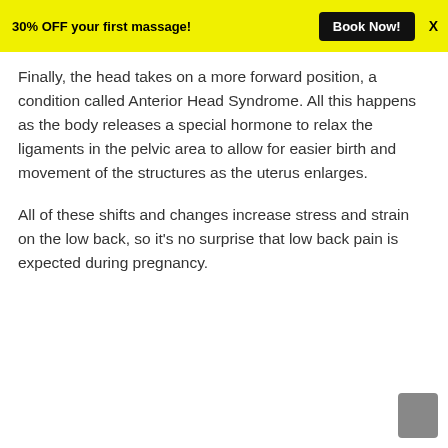30% OFF your first massage!  Book Now!  X
Finally, the head takes on a more forward position, a condition called Anterior Head Syndrome. All this happens as the body releases a special hormone to relax the ligaments in the pelvic area to allow for easier birth and movement of the structures as the uterus enlarges.
All of these shifts and changes increase stress and strain on the low back, so it's no surprise that low back pain is expected during pregnancy.